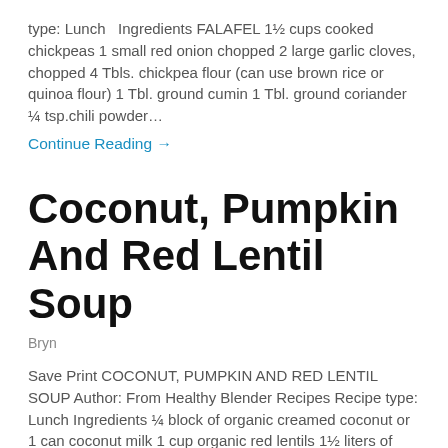type: Lunch   Ingredients FALAFEL 1½ cups cooked chickpeas 1 small red onion chopped 2 large garlic cloves, chopped 4 Tbls. chickpea flour (can use brown rice or quinoa flour) 1 Tbl. ground cumin 1 Tbl. ground coriander ¼ tsp.chili powder…
Continue Reading →
Coconut, Pumpkin And Red Lentil Soup
Bryn
Save Print COCONUT, PUMPKIN AND RED LENTIL SOUP Author: From Healthy Blender Recipes Recipe type: Lunch Ingredients ¼ block of organic creamed coconut or 1 can coconut milk 1 cup organic red lentils 1½ liters of vegetable stock ¼ of a pumpkin cut into cubes 2 red onions chopped Large bunch of organic silver beet or…
Continue Reading →